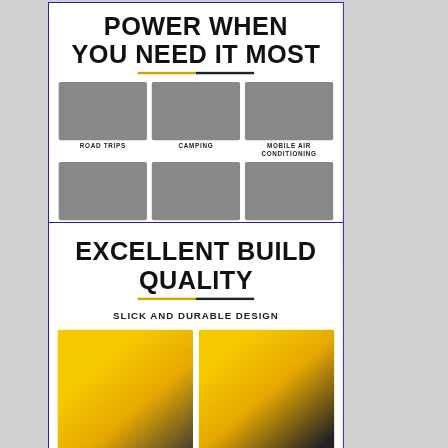[Figure (infographic): Product marketing panel showing 'POWER WHEN YOU NEED IT MOST' heading with 6 use-case images: Road Trips, Camping, Mobile Air Conditioning, Power Tools, Outdoor Events, Food Trucks. eBay watermark visible.]
[Figure (infographic): Product marketing panel showing 'EXCELLENT BUILD QUALITY - SLICK AND DURABLE DESIGN' heading with two photos of a yellow portable inverter generator (model RG6000i).]